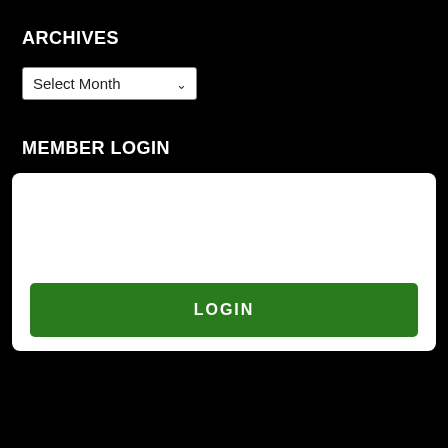ARCHIVES
[Figure (screenshot): A dropdown select element with label 'Select Month' and a chevron arrow on a black background]
MEMBER LOGIN
[Figure (screenshot): A white login form box with a green LOGIN button at the bottom]